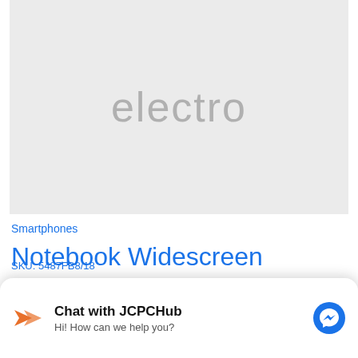[Figure (illustration): Product placeholder image with light grey background and the word 'electro' in large grey text centered]
Smartphones
Notebook Widescreen 751-70 40K6013UPR
SKU: 5487FB8/18
Chat with JCPCHub
Hi! How can we help you?